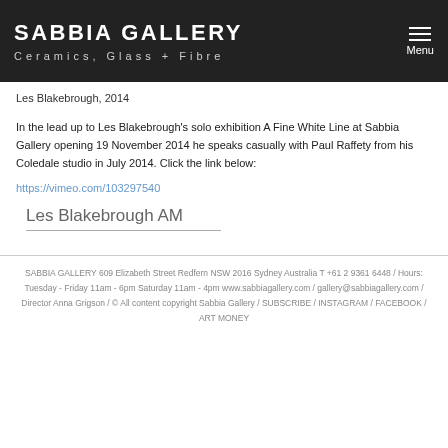SABBIA GALLERY Ceramics, Glass + Fibre
Les Blakebrough, 2014
In the lead up to Les Blakebrough's solo exhibition A Fine White Line at Sabbia Gallery opening 19 November 2014 he speaks casually with Paul Raffety from his Coledale studio in July 2014. Click the link below:
https://vimeo.com/103297540
Les Blakebrough AM
SABBIA GALLERY 609 Elizabeth Street Redfern NSW 2016 Sydney Australia T +61 2 9361 6448 / Hours: Tuesday - Friday 11am - 6pm Saturday 11am - 4pm www.sabbiagallery.com / gallery@sabbiagallery.com / Director Anna Grigson / © All content copyright Sabbia Gallery / SUBSCRIBE / INSTAGRAM / FACEBOOK / ART MONEY